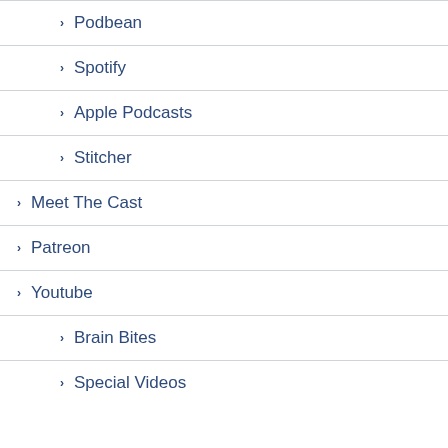Podbean
Spotify
Apple Podcasts
Stitcher
Meet The Cast
Patreon
Youtube
Brain Bites
Special Videos